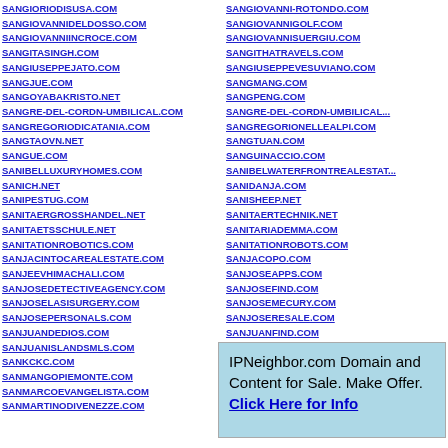Left column domain links: SANGIORIODISUSA.COM, SANGIOVANNIDELDOSSO.COM, SANGIOVANNIINCROCE.COM, SANGITASINGH.COM, SANGIUSEPPEJATO.COM, SANGJUE.COM, SANGOYABAKRISTO.NET, SANGRE-DEL-CORDN-UMBILICAL.COM, SANGREGORIODICATANIA.COM, SANGTAOVN.NET, SANGUE.COM, SANIBELLUXURYHOMES.COM, SANICH.NET, SANIPESTUG.COM, SANITAERGROSSHANDEL.NET, SANITAETSSCHULE.NET, SANITATIONROBOTICS.COM, SANJACINTOCAREALESTATE.COM, SANJEEVHIMACHALI.COM, SANJOSEDETECTIVEAGENCY.COM, SANJOSELASISURGERY.COM, SANJOSEPERSONALS.COM, SANJUANDEDIOS.COM, SANJUANISLANDSMLS.COM, SANKCKC.COM, SANMANGOPIEMONTE.COM, SANMARCOEVANGELISTA.COM, SANMARTINODIVENEZZE.COM
Right column domain links: SANGIOVANNI-ROTONDO.COM, SANGIOVANNIGOLF.COM, SANGIOVANNISUERGIU.COM, SANGITHATRAVELS.COM, SANGIUSEPPEVESUVIANO.COM, SANGMANG.COM, SANGPENG.COM, SANGRE-DEL-CORDN-UMBILICAL..., SANGREGORIONELLEALPI.COM, SANGTUAN.COM, SANGUINACCIO.COM, SANIBELWATERFRONTREALESTATE..., SANIDANJA.COM, SANISHEEP.NET, SANITAERTECHNIK.NET, SANITARIADEMMA.COM, SANITATIONROBOTS.COM, SANJACOPO.COM, SANJOSEAPPS.COM, SANJOSEFIND.COM, SANJOSEMECURY.COM, SANJOSERESALE.COM, SANJUANFIND.COM
[Figure (other): IPNeighbor.com Domain and Content for Sale advertisement box with light blue background. Text: 'IPNeighbor.com Domain and Content for Sale. Make Offer.' with bold underlined link 'Click Here for Info'.]